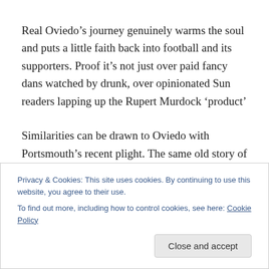Real Oviedo’s journey genuinely warms the soul and puts a little faith back into football and its supporters. Proof it’s not just over paid fancy dans watched by drunk, over opinionated Sun readers lapping up the Rupert Murdock ‘product’
Similarities can be drawn to Oviedo with Portsmouth’s recent plight. The same old story of a badly run club, administration, and poor fiscal management also saw
Privacy & Cookies: This site uses cookies. By continuing to use this website, you agree to their use.
To find out more, including how to control cookies, see here: Cookie Policy